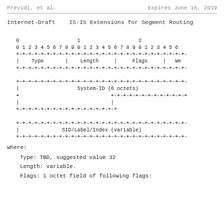Previdi, et al.                    Expires June 16, 2019
Internet-Draft    IS-IS Extensions for Segment Routing
[Figure (schematic): Packet format diagram showing fields: 0, 1, 2 columns with rows: bit numbering (0 1 2 3 4 5 6 7 8 9 0 1 2 3 4 5 6 7 8 9 0 1 2 3 4 5 6), separator +-+-+-+-, Type | Length | Flags | We, separator, then System-ID (6 octets) block, separator, SID/Label/Index (variable) block, separator]
where:
Type: TBD, suggested value 32
Length: variable.
Flags: 1 octet field of following flags: